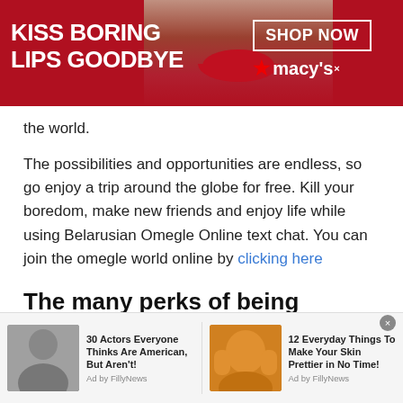[Figure (screenshot): Advertisement banner for Macy's with red background. Left side shows bold white text 'KISS BORING LIPS GOODBYE'. Center shows a woman's face with red lips. Right side shows 'SHOP NOW' button in white border and Macy's star logo.]
the world.
The possibilities and opportunities are endless, so go enjoy a trip around the globe for free. Kill your boredom, make new friends and enjoy life while using Belarusian Omegle Online text chat. You can join the omegle world online by clicking here
The many perks of being available on Belarusian Omegle Online
[Figure (screenshot): Bottom ad strip showing two sponsored content items. Left: photo of bald man with text '30 Actors Everyone Thinks Are American, But Aren't!' Ad by FillyNews. Right: photo of woman with orange face mask with text '12 Everyday Things To Make Your Skin Prettier in No Time!' Ad by FillyNews.]